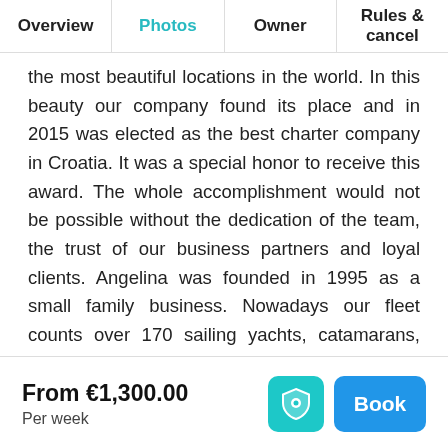Overview | Photos | Owner | Rules & cancel
the most beautiful locations in the world. In this beauty our company found its place and in 2015 was elected as the best charter company in Croatia. It was a special honor to receive this award. The whole accomplishment would not be possible without the dedication of the team, the trust of our business partners and loyal clients. Angelina was founded in 1995 as a small family business. Nowadays our fleet counts over 170 sailing yachts, catamarans, motor yachts and motor boats in five nautical bases: Sukosan, Biograd, Sibenik, Rogoznica and Trogir. The whole fleet is carefully selected in order to provide you with the best quality vessels for your sailing holidays. Some of the brands of boats are Bali, Bavaria, Beneteau,
From €1,300.00
Per week